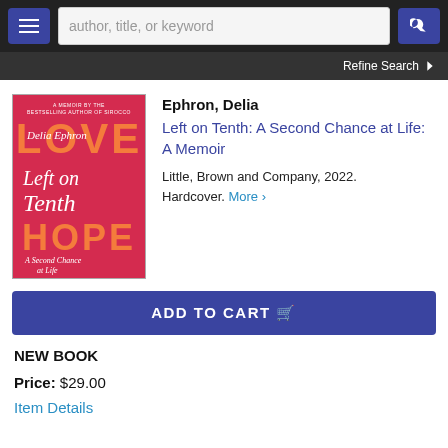author, title, or keyword
Refine Search
[Figure (illustration): Book cover for 'Left on Tenth: A Second Chance at Life: A Memoir' by Delia Ephron. Red/pink background with large orange block letters spelling LOVE at top and HOPE at bottom, with cursive white script text in the middle reading 'Left on Tenth' and author name 'Delia Ephron'.]
Ephron, Delia
Left on Tenth: A Second Chance at Life: A Memoir
Little, Brown and Company, 2022. Hardcover. More >
ADD TO CART
NEW BOOK
Price: $29.00
Item Details